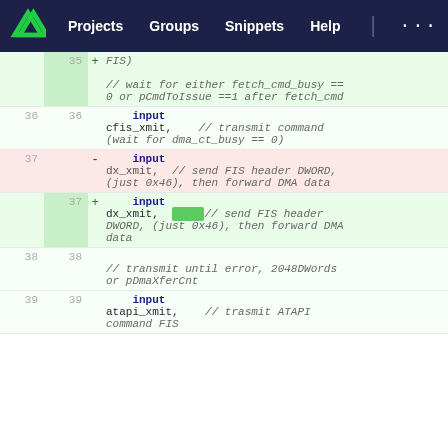Projects  Groups  Snippets  Help
35 + FIS)  // wait for either fetch_cmd_busy == 0 or pCmdToIssue ==1 after fetch_cmd
36 36   input cfis_xmit,  // transmit command (wait for dma_ct_busy == 0)
37 -   input dx_xmit,  // send FIS header DWORD, (just 0x46), then forward DMA data
37 +   input dx_xmit,  [hl]// send FIS header DWORD, (just 0x46), then forward DMA data
38 38   // transmit until error, 2048DWords or pDmaXferCnt
39 39   input atapi_xmit,  // trasmit ATAPI command FIS